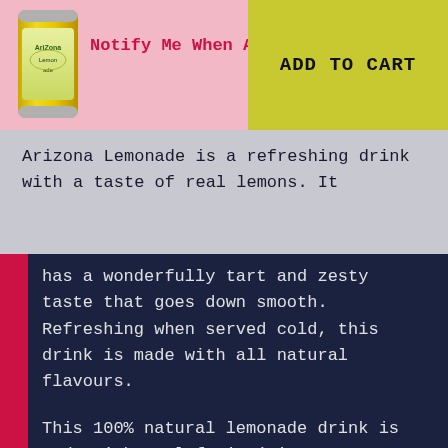[Figure (illustration): Arizona Lemonade can product image — yellow/green tall can]
Notify Me When Available
ADD TO CART
Arizona Lemonade is a refreshing drink with a taste of real lemons. It has a wonderfully tart and zesty taste that goes down smooth. Refreshing when served cold, this drink is made with all natural flavours.

This 100% natural lemonade drink is made with real fruit juice, cane sugar and no preservatives or artificial colours. It comes in a huge 680ml can offering ultimate refreshment and is full of Vitamin C. A great summer drink that leaves you...